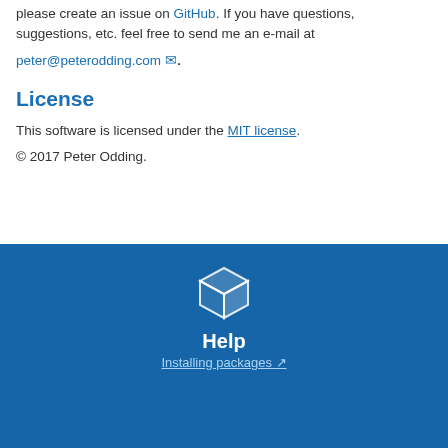please create an issue on GitHub. If you have questions, suggestions, etc. feel free to send me an e-mail at peter@peterodding.com.
License
This software is licensed under the MIT license.
© 2017 Peter Odding.
[Figure (logo): 3D box/package icon in white outline on blue background]
Help
Installing packages ↗